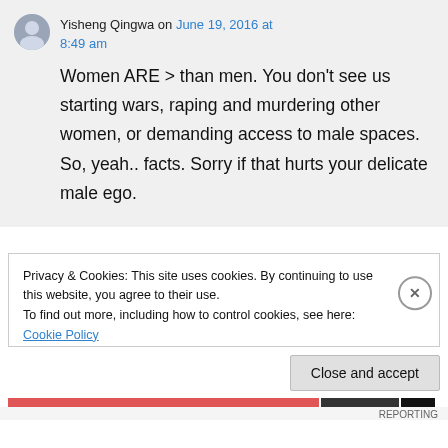Yisheng Qingwa on June 19, 2016 at 8:49 am
Women ARE > than men. You don't see us starting wars, raping and murdering other women, or demanding access to male spaces. So, yeah.. facts. Sorry if that hurts your delicate male ego.
Privacy & Cookies: This site uses cookies. By continuing to use this website, you agree to their use. To find out more, including how to control cookies, see here: Cookie Policy
Close and accept